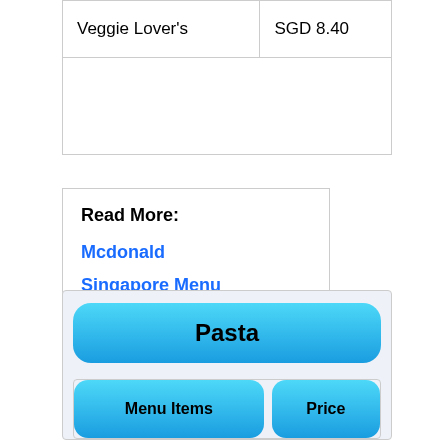| Veggie Lover's | SGD 8.40 |
|  |  |
Read More:
Mcdonald
Singapore Menu
| Menu Items | Price |
| --- | --- |